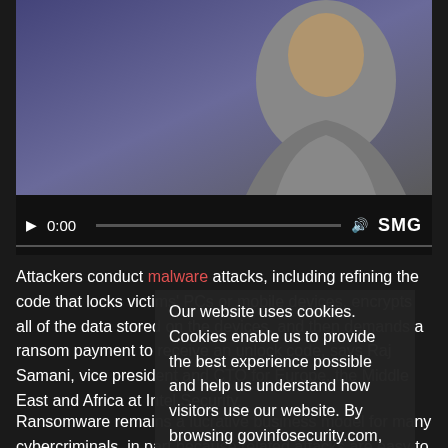[Figure (screenshot): Video player showing a man in a suit against a blue/grey background. Video controls show 0:00 timestamp and SMG logo. A cookie consent overlay covers part of the page.]
Attackers conduct malware attacks, including refining the code that locks victims' PCs or mobile devices, encrypts all of the data stored on the devices, and then demands a ransom payment to receive an unlock code, says Raj Samani, vice president and CTO for Europe, the Middle East and Africa at Intel Security.
Our website uses cookies. Cookies enable us to provide the best experience possible and help us understand how visitors use our website. By browsing govinfosecurity.com, you agree to our use of cookies.
Ransomware remains a lucrative business model for many cybercriminals, in part because related attacks are easy to